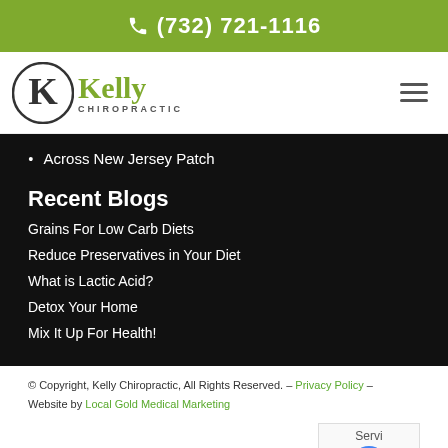(732) 721-1116
[Figure (logo): Kelly Chiropractic logo with circular K emblem and green Kelly wordmark]
Across New Jersey Patch
Recent Blogs
Grains For Low Carb Diets
Reduce Preservatives in Your Diet
What is Lactic Acid?
Detox Your Home
Mix It Up For Health!
© Copyright, Kelly Chiropractic, All Rights Reserved. – Privacy Policy – Website by Local Gold Medical Marketing